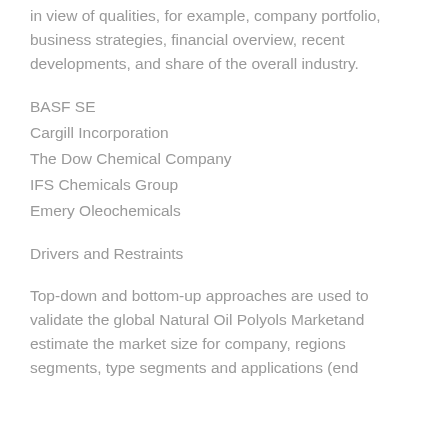in view of qualities, for example, company portfolio, business strategies, financial overview, recent developments, and share of the overall industry.
BASF SE
Cargill Incorporation
The Dow Chemical Company
IFS Chemicals Group
Emery Oleochemicals
Drivers and Restraints
Top-down and bottom-up approaches are used to validate the global Natural Oil Polyols Marketand estimate the market size for company, regions segments, type segments and applications (end